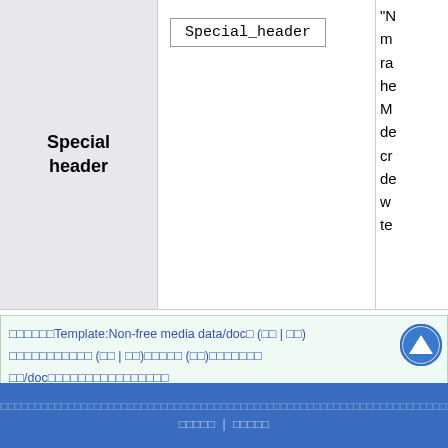| Special header | Special_header | "N m ra he M de cr de w te |
| --- | --- | --- |
□□□□□□Template:Non-free media data/doc□ (□□ | □□)
□□□□□□□□□□□ (□□ | □□)□□□□□ (□□)□□□□□□□
□□/doc□□□□□□□□□□□□□□□□
□□□□□□□□□□□□□□□□□□□□□□□□□□□□□□□□□□□□□□□□□□□□□□□□□□□□□□□□□□□□□□□□□□□□□□□□□□□□□□□□□□□□□□□□□□□□□□□□□
□□□□□ | □□□□□